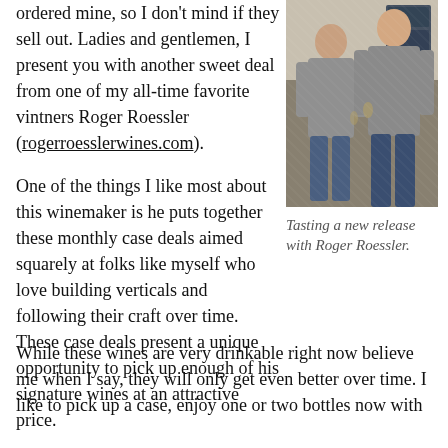ordered mine, so I don't mind if they sell out. Ladies and gentlemen, I present you with another sweet deal from one of my all-time favorite vintners Roger Roessler (rogerroesslerwines.com).
[Figure (photo): Two men posing together in what appears to be a restaurant or bar setting; the younger man on the left is shorter and wearing a gray t-shirt, the older man on the right is taller and also wearing a gray shirt, both appear to be holding wine glasses.]
Tasting a new release with Roger Roessler.
One of the things I like most about this winemaker is he puts together these monthly case deals aimed squarely at folks like myself who love building verticals and following their craft over time. These case deals present a unique opportunity to pick up enough of his signature wines at an attractive price.
While these wines are very drinkable right now believe me when I say, they will only get even better over time. I like to pick up a case, enjoy one or two bottles now with friends and follow the rest over the next year or two.